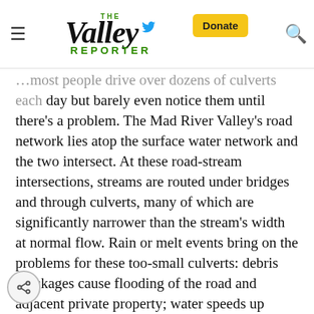The Valley Reporter — navigation header with Donate button and search icon
...most people drive over dozens of culverts each day but barely even notice them until there's a problem. The Mad River Valley's road network lies atop the surface water network and the two intersect. At these road-stream intersections, streams are routed under bridges and through culverts, many of which are significantly narrower than the stream's width at normal flow. Rain or melt events bring on the problems for these too-small culverts: debris blockages cause flooding of the road and adjacent private property; water speeds up through the culverts and its force erodes streambanks downstream; and scouring water can undermine structures and create large drop-offs at